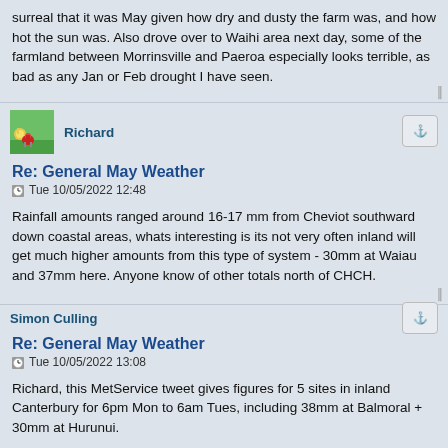surreal that it was May given how dry and dusty the farm was, and how hot the sun was. Also drove over to Waihi area next day, some of the farmland between Morrinsville and Paeroa especially looks terrible, as bad as any Jan or Feb drought I have seen.
Richard
Re: General May Weather
Tue 10/05/2022 12:48
Rainfall amounts ranged around 16-17 mm from Cheviot southward down coastal areas, whats interesting is its not very often inland will get much higher amounts from this type of system - 30mm at Waiau and 37mm here. Anyone know of other totals north of CHCH.
Simon Culling
Re: General May Weather
Tue 10/05/2022 13:08
Richard, this MetService tweet gives figures for 5 sites in inland Canterbury for 6pm Mon to 6am Tues, including 38mm at Balmoral + 30mm at Hurunui.